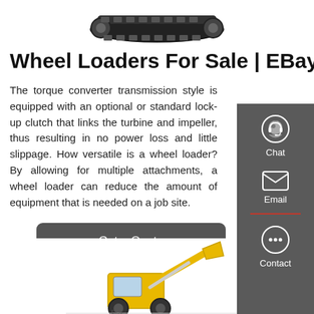[Figure (photo): Black tracked undercarriage / crawler track unit viewed from the side, centered at top of page]
Wheel Loaders For Sale | EBay
The torque converter transmission style is equipped with an optional or standard lock-up clutch that links the turbine and impeller, thus resulting in no power loss and little slippage. How versatile is a wheel loader? By allowing for multiple attachments, a wheel loader can reduce the amount of equipment that is needed on a job site.
[Figure (infographic): Side panel with Chat (headset icon), Email (envelope icon), and Contact (speech bubble icon) buttons on dark grey background]
[Figure (photo): Yellow construction machine (wheel loader / excavator) partially visible at bottom of page]